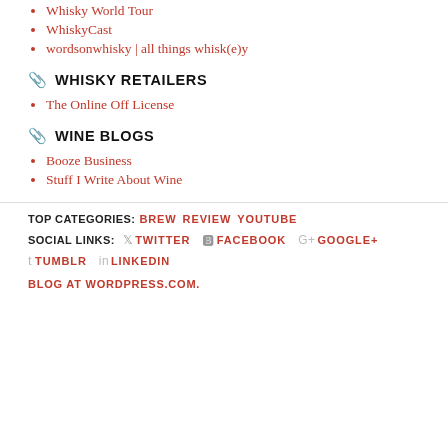Whisky World Tour
WhiskyCast
wordsonwhisky | all things whisk(e)y
WHISKY RETAILERS
The Online Off License
WINE BLOGS
Booze Business
Stuff I Write About Wine
TOP CATEGORIES: BREW REVIEW YOUTUBE
SOCIAL LINKS: TWITTER FACEBOOK GOOGLE+ TUMBLR LINKEDIN
BLOG AT WORDPRESS.COM.